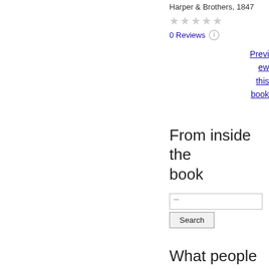Harper & Brothers, 1847
★★★★★ (0 stars)
0 Reviews
Preview this book
From inside the book
Search input field
Search button
What people are saying - Write a review
We haven't found any